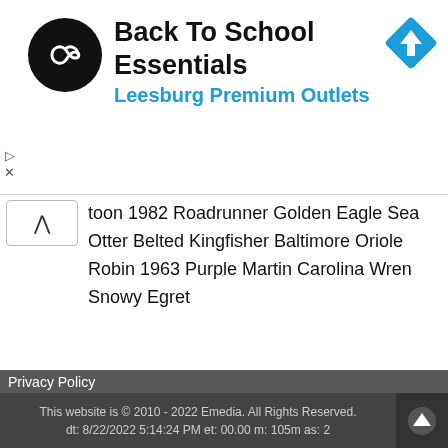[Figure (screenshot): Advertisement banner for Back To School Essentials at Leesburg Premium Outlets, with a circular logo on the left, text in the center, and a navigation/directions diamond icon on the right.]
toon 1982 Roadrunner Golden Eagle Sea Otter Belted Kingfisher Baltimore Oriole Robin 1963 Purple Martin Carolina Wren Snowy Egret
Sitemap
Top 50 Limited Edition Prints
Limited Prints of the Day
Limited Edition Artists A-Z
Privacy Policy
This website is © 2010 - 2022 Emedia. All Rights Reserved.
dt: 8/22/2022 5:14:24 PM et: 00.00 m: 105m as: 2